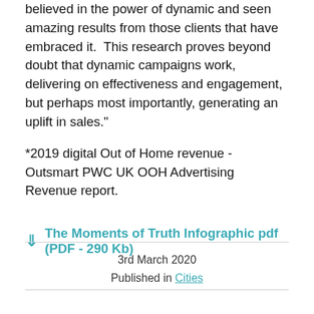representing only about 6% of all DOOH campaigns. We've always believed in the power of dynamic and seen amazing results from those clients that have embraced it. This research proves beyond doubt that dynamic campaigns work, delivering on effectiveness and engagement, but perhaps most importantly, generating an uplift in sales."
*2019 digital Out of Home revenue - Outsmart PWC UK OOH Advertising Revenue report.
↓ The Moments of Truth Infographic pdf (PDF - 290 Kb)
3rd March 2020
Published in Cities